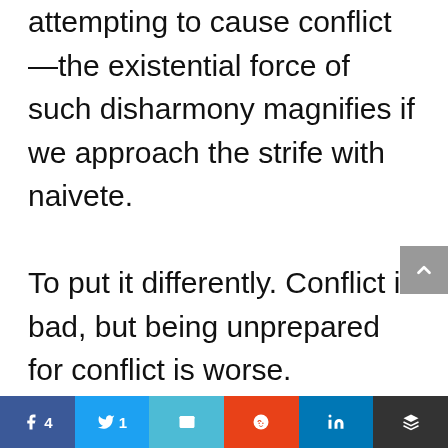attempting to cause conflict—the existential force of such disharmony magnifies if we approach the strife with naivete.

To put it differently. Conflict is bad, but being unprepared for conflict is worse. Blindness to God's redemptive purposes in conflict. well. that is worse yet.
Facebook 4 | Twitter 1 | Email | Reddit | LinkedIn | Buffer